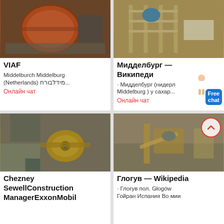[Figure (photo): Orange ball mill machinery in industrial facility]
VIAF
Middelburch Middelburg (Netherlands) מידלבורח...
Онлайн чат
[Figure (photo): Construction/mining plant with scaffolding and machinery]
Мидделбург — Википеди
· Мидделбург (нидерл Middelburg ) у сахар...
Онлайн чат
[Figure (photo): Yellow jaw crusher machine at quarry site]
Chezney SewellConstruction ManagerExxonMobil
[Figure (photo): Quarry site with conveyor and crushing equipment]
Глогув — Wikipedia
· Глогув пол. Głogów Гойран Испания Во мии